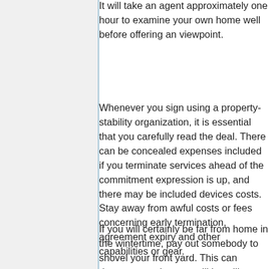It will take an agent approximately one hour to examine your own home well before offering an viewpoint.
Whenever you sign using a property-stability organization, it is essential that you carefully read the deal. There can be concealed expenses included if you terminate services ahead of the commitment expression is up, and there may be included devices costs. Stay away from awful costs or fees concerning early termination, agreement expiry and other capabilities or gear.
If you will certainly be far from home in the wintertime, pay out somebody to shovel your front yard. This can demonstrate that you will be still house